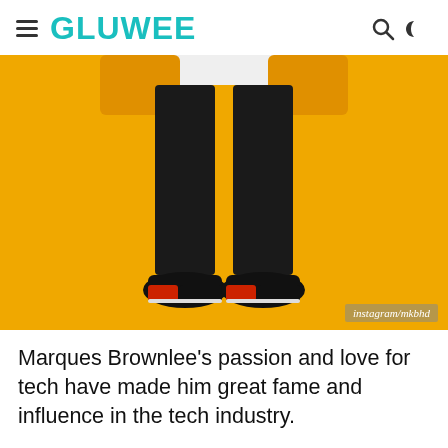GLUWEE
[Figure (photo): Lower body of a person wearing black skinny jeans, a yellow jacket, white shirt, and red/black Jordan sneakers, standing against a yellow background. Watermark reads instagram/mkbhd.]
instagram/mkbhd
Marques Brownlee's passion and love for tech have made him great fame and influence in the tech industry.